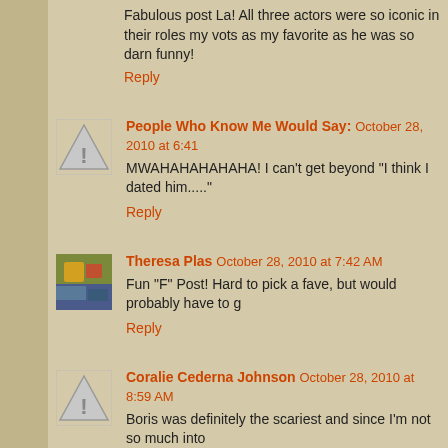Fabulous post La! All three actors were so iconic in their roles my vots as my favorite as he was so darn funny!
Reply
People Who Know Me Would Say: October 28, 2010 at 6:41
MWAHAHAHAHAHA! I can't get beyond "I think I dated him...."
Reply
Theresa Plas October 28, 2010 at 7:42 AM
Fun "F" Post! Hard to pick a fave, but would probably have to g
Reply
Coralie Cederna Johnson October 28, 2010 at 8:59 AM
Boris was definitely the scariest and since I'm not so much into FUN post!
Happy F Day!
Coralie
Reply